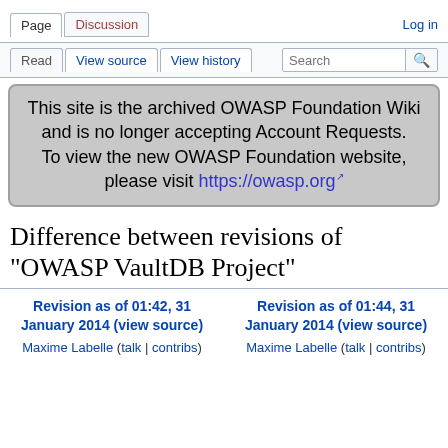Page | Discussion | Log in
Read | View source | View history | Search
This site is the archived OWASP Foundation Wiki and is no longer accepting Account Requests. To view the new OWASP Foundation website, please visit https://owasp.org
Difference between revisions of "OWASP VaultDB Project"
Revision as of 01:42, 31 January 2014 (view source)
Maxime Labelle (talk | contribs)
Revision as of 01:44, 31 January 2014 (view source)
Maxime Labelle (talk | contribs)